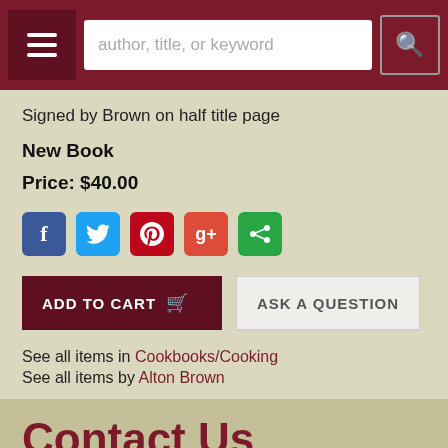author, title, or keyword
Signed by Brown on half title page
New Book
Price: $40.00
[Figure (infographic): Social sharing icons: Facebook (blue), Twitter (light blue), Pinterest (red), Google+ (red-orange), Share (green)]
ADD TO CART   ASK A QUESTION
See all items in Cookbooks/Cooking
See all items by Alton Brown
Contact Us
[Figure (photo): Strip of photos showing a bookstore or book-related scenes]